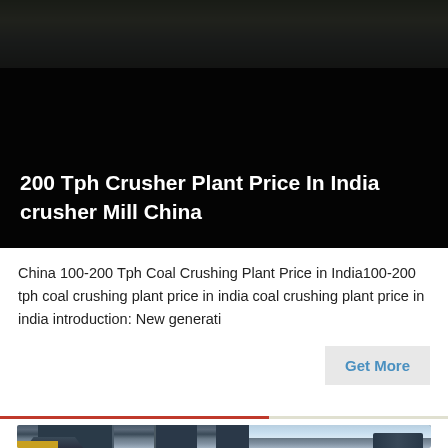[Figure (photo): Industrial crusher plant facility photo with dark overlay background]
200 Tph Crusher Plant Price In India crusher Mill China
China 100-200 Tph Coal Crushing Plant Price in India100-200 tph coal crushing plant price in india coal crushing plant price in india introduction: New generati
[Figure (photo): Industrial plant with large pipes, hoppers, and silos against a partly cloudy sky]